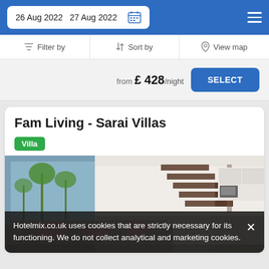26 Aug 2022  27 Aug 2022
Filter by   Sort by   View map
from £ 428/night  SELECT
Fam Living - Sarai Villas
Villa
[Figure (photo): Interior photo of a modern villa showing living area with large glass sliding doors, palm trees visible outside, and a floating staircase with dark wood treads. White kitchen cabinets visible in background.]
Hotelmix.co.uk uses cookies that are strictly necessary for its functioning. We do not collect analytical and marketing cookies.